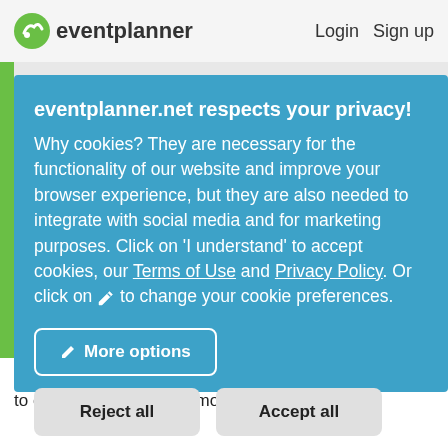eventplanner   Login   Sign up
meeting rooms in Tielt-Winge for you. Now it's up to you to choose and book the most beautiful venue!
eventplanner.net respects your privacy!
Why cookies? They are necessary for the functionality of our website and improve your browser experience, but they are also needed to integrate with social media and for marketing purposes. Click on 'I understand' to accept cookies, our Terms of Use and Privacy Policy. Or click on ✏ to change your cookie preferences.
More options
Reject all
Accept all